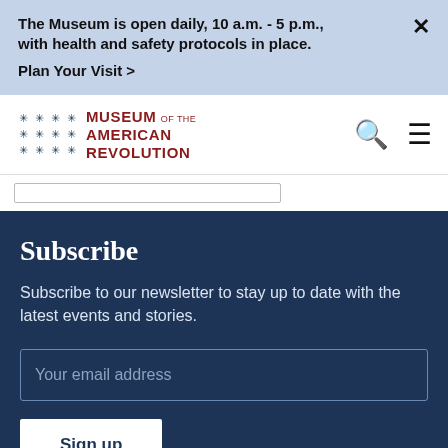The Museum is open daily, 10 a.m. - 5 p.m., with health and safety protocols in place. Plan Your Visit >
[Figure (logo): Museum of the American Revolution logo with star pattern and red text]
Subscribe
Subscribe to our newsletter to stay up to date with the latest events and stories.
Your email address
Sign up